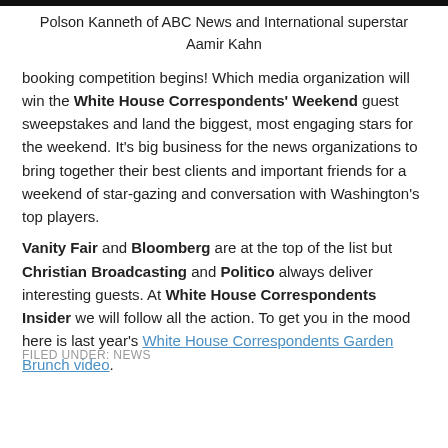[Figure (photo): Dark image strip at the top of the page]
Polson Kanneth of ABC News and International superstar Aamir Kahn
booking competition begins! Which media organization will win the White House Correspondents' Weekend guest sweepstakes and land the biggest, most engaging stars for the weekend. It's big business for the news organizations to bring together their best clients and important friends for a weekend of star-gazing and conversation with Washington's top players.
Vanity Fair and Bloomberg are at the top of the list but Christian Broadcasting and Politico always deliver interesting guests. At White House Correspondents Insider we will follow all the action. To get you in the mood here is last year's White House Correspondents Garden Brunch video.
FILED UNDER: NEWS